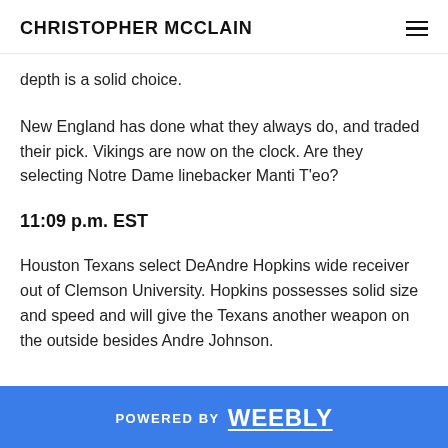CHRISTOPHER MCCLAIN
depth is a solid choice.
New England has done what they always do, and traded their pick. Vikings are now on the clock. Are they selecting Notre Dame linebacker Manti T'eo?
11:09 p.m. EST
Houston Texans select DeAndre Hopkins wide receiver out of Clemson University. Hopkins possesses solid size and speed and will give the Texans another weapon on the outside besides Andre Johnson.
POWERED BY weebly